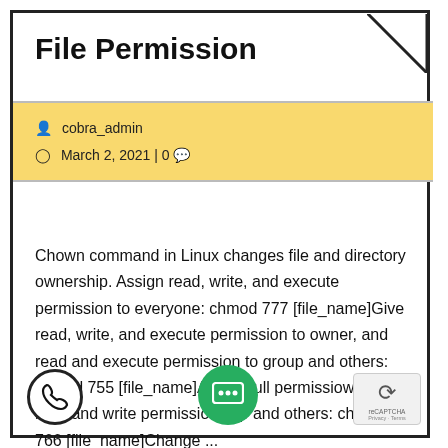File Permission
cobra_admin
March 2, 2021 | 0
Chown command in Linux changes file and directory ownership. Assign read, write, and execute permission to everyone: chmod 777 [file_name]Give read, write, and execute permission to owner, and read and execute permission to group and others: chmod 755 [file_name]Assign full permission to owner, and read and write permission to group and others: chmod 766 [file_name]Change ...